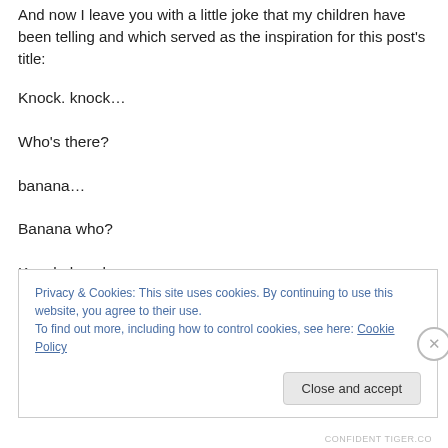And now I leave you with a little joke that my children have been telling and which served as the inspiration for this post's title:
Knock. knock…
Who's there?
banana…
Banana who?
Knock, knock…
Privacy & Cookies: This site uses cookies. By continuing to use this website, you agree to their use.
To find out more, including how to control cookies, see here: Cookie Policy
CONFIDENT TIGER.CO